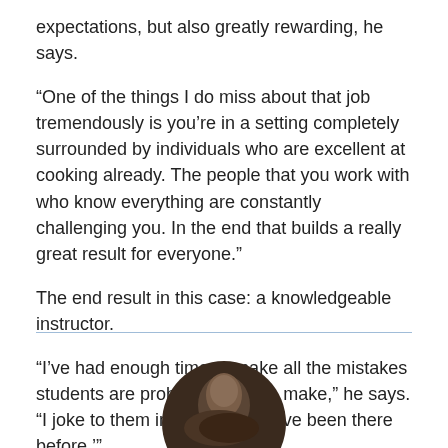expectations, but also greatly rewarding, he says.
“One of the things I do miss about that job tremendously is you’re in a setting completely surrounded by individuals who are excellent at cooking already. The people that you work with who know everything are constantly challenging you. In the end that builds a really great result for everyone.”
The end result in this case: a knowledgeable instructor.
“I’ve had enough time to make all the mistakes students are probably going to make,” he says. “I joke to them in class, ‘Well, I’ve been there before.’”
[Figure (photo): Circular portrait photo of a person, partially visible at the bottom of the page below a horizontal divider line]